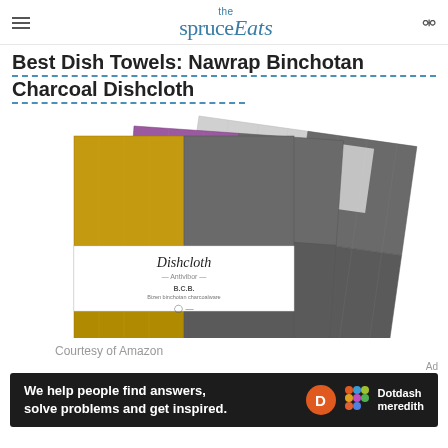the spruce Eats
Best Dish Towels: Nawrap Binchotan Charcoal Dishcloth
[Figure (photo): Three Nawrap Binchotan Charcoal Dishcloths stacked/fanned out, showing gold/yellow, purple, light gray, and dark gray textured fabric squares with a white paper band label reading 'Dishcloth - Antivibor -']
Courtesy of Amazon
Ad
[Figure (other): Dark advertisement banner: 'We help people find answers, solve problems and get inspired.' with Dotdash Meredith logo]